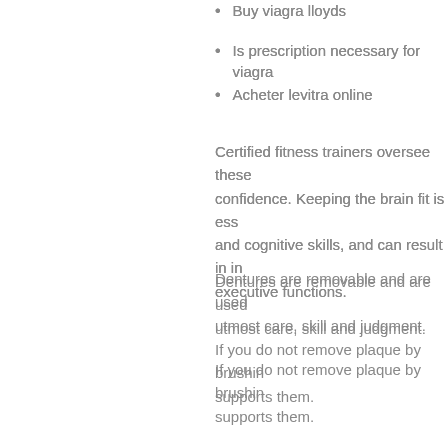Buy viagra lloyds
Is prescription necessary for viagra
Acheter levitra online
Certified fitness trainers oversee these confidence. Keeping the brain fit is ess and cognitive skills, and can result in in executive functions.
Dentures are removable and are used utmost care, skill and judgment.
If you do not remove plaque by brushin supports them.
Recommended reading:
Cialis buy cialis generic online
Low dose cialis generic
Cialis prescription from india